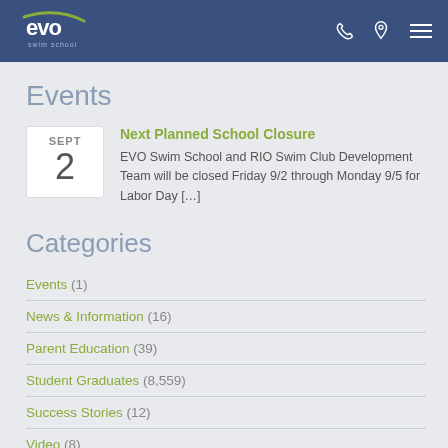EVO Swim School - header with logo, phone, location, and menu icons
Events
Next Planned School Closure
EVO Swim School and RIO Swim Club Development Team will be closed Friday 9/2 through Monday 9/5 for Labor Day […]
Categories
Events (1)
News & Information (16)
Parent Education (39)
Student Graduates (8,559)
Success Stories (12)
Video (8)